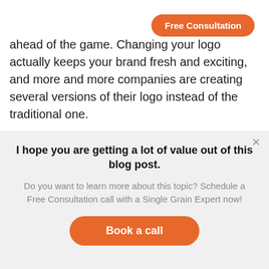Free Consultation
ahead of the game. Changing your logo actually keeps your brand fresh and exciting, and more and more companies are creating several versions of their logo instead of the traditional one.
Your different logos can be for various
I hope you are getting a lot of value out of this blog post.
Do you want to learn more about this topic? Schedule a Free Consultation call with a Single Grain Expert now!
Book a call